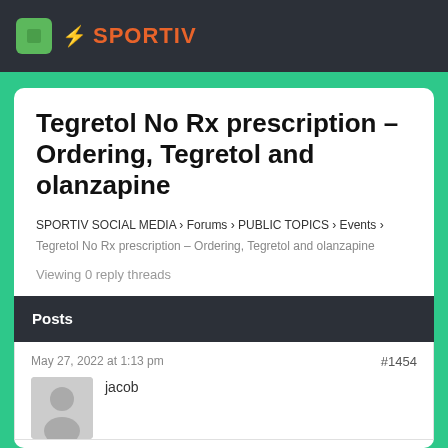SPORTIV
Tegretol No Rx prescription – Ordering, Tegretol and olanzapine
SPORTIV SOCIAL MEDIA › Forums › PUBLIC TOPICS › Events › Tegretol No Rx prescription – Ordering, Tegretol and olanzapine
Viewing 0 reply threads
Posts
May 27, 2022 at 1:13 pm  #1454  jacob